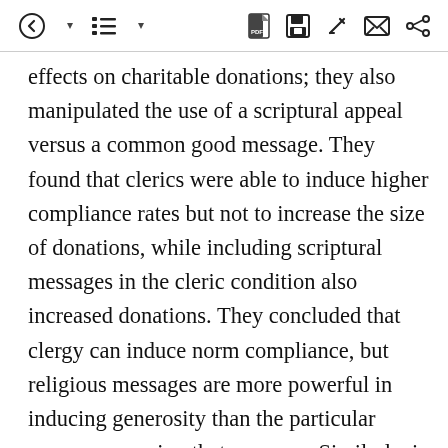[toolbar icons: back, list, PDF, save, edit, message, share]
effects on charitable donations; they also manipulated the use of a scriptural appeal versus a common good message. They found that clerics were able to induce higher compliance rates but not to increase the size of donations, while including scriptural messages in the cleric condition also increased donations. They concluded that clergy can induce norm compliance, but religious messages are more powerful in inducing generosity than the particular source conveying that message. Similarly, in a lab-in-the-field experiment in Ghana, McCauley (2014b) compared subjects' cooperation with a Pentecostal preacher versus various forms of a regional “strong man”—the same experimental confederate but dressed and